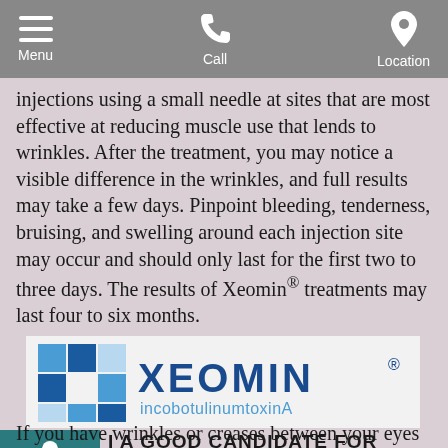Menu | Call | Location
injections using a small needle at sites that are most effective at reducing muscle use that lends to wrinkles. After the treatment, you may notice a visible difference in the wrinkles, and full results may take a few days. Pinpoint bleeding, tenderness, bruising, and swelling around each injection site may occur and should only last for the first two to three days. The results of Xeomin® treatments may last four to six months.
[Figure (logo): Xeomin incobotulinumtoxinA logo — blue square mosaic with brand name XEOMIN® and subtitle incobotulinumtoxinA on white background]
I A GOOD CANDIDATE FOR XEOMIN®?
If you have wrinkles or creases between your eyes